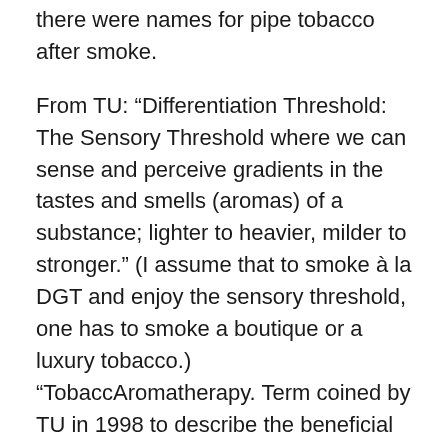there were names for pipe tobacco after smoke.
From TU: “Differentiation Threshold: The Sensory Threshold where we can sense and perceive gradients in the tastes and smells (aromas) of a substance; lighter to heavier, milder to stronger.” (I assume that to smoke à la DGT and enjoy the sensory threshold, one has to smoke a boutique or a luxury tobacco.) “TobaccAromatherapy. Term coined by TU in 1998 to describe the beneficial and therapeutic effects of pleasant tobacco aromas,” and “Smokerism. A belief of moral superiority over smokers, manifested as discrimination and punishment. Since the latter part of the 20th Century Smokerism has become a pervasive global social trend.”
We’re not alone. It’s also happening in the cigar world. Here is a point of view from David Nadel, “Learning the Cigar Lingo” (bnbtobacco.com): “After generations and generations of smoking cigars, there has naturally